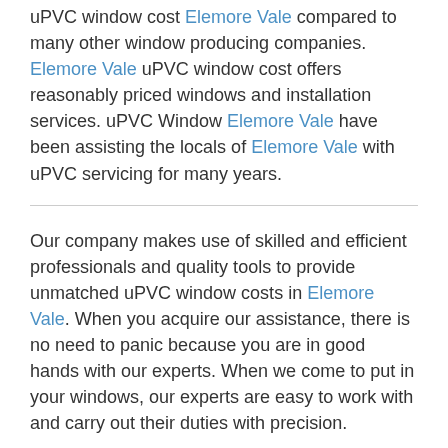uPVC window cost Elemore Vale compared to many other window producing companies. Elemore Vale uPVC window cost offers reasonably priced windows and installation services. uPVC Window Elemore Vale have been assisting the locals of Elemore Vale with uPVC servicing for many years.
Our company makes use of skilled and efficient professionals and quality tools to provide unmatched uPVC window costs in Elemore Vale. When you acquire our assistance, there is no need to panic because you are in good hands with our experts. When we come to put in your windows, our experts are easy to work with and carry out their duties with precision.